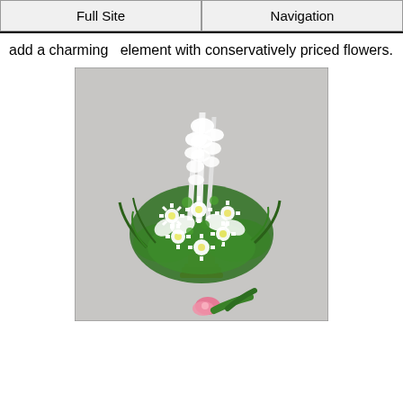Full Site | Navigation
add a charming  element with conservatively priced flowers.
[Figure (photo): A large floral arrangement of white gladiolus, white daisies, white alstroemeria, and green foliage in a gold pedestal vase on a light grey background. A small pink flower and green leaves appear at the lower front.]